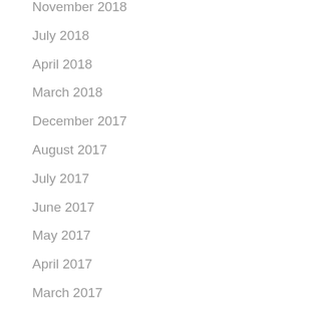November 2018
July 2018
April 2018
March 2018
December 2017
August 2017
July 2017
June 2017
May 2017
April 2017
March 2017
January 2017